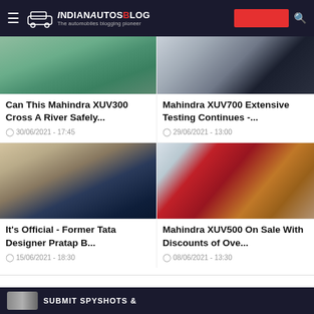IndianAutosBlog - The automobiles blogging pioneer
[Figure (photo): Mahindra XUV300 crossing a river - top portion of image visible]
[Figure (photo): Mahindra XUV700 rear view during testing - top portion visible]
Can This Mahindra XUV300 Cross A River Safely...
30/06/2021 - 17:45
Mahindra XUV700 Extensive Testing Continues -...
29/06/2021 - 13:00
[Figure (photo): Former Tata designer Pratap Bose portrait photo - man with glasses in dark suit]
[Figure (photo): Red Mahindra XUV500 SUV parked on rocky terrain with mountains in background]
It's Official - Former Tata Designer Pratap B...
15/06/2021 - 18:30
Mahindra XUV500 On Sale With Discounts of Ove...
08/06/2021 - 13:30
[Figure (infographic): IndianAutosBlog banner - Submit Spyshots & section at bottom of page]